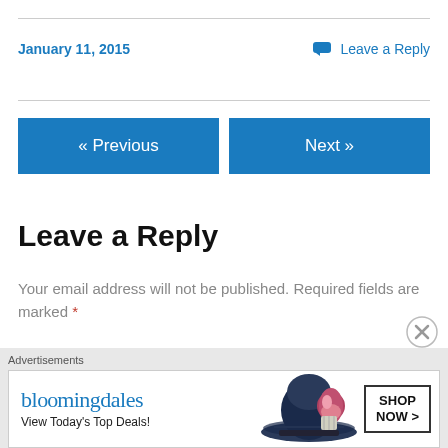January 11, 2015
Leave a Reply
« Previous
Next »
Leave a Reply
Your email address will not be published. Required fields are marked *
Comment *
[Figure (infographic): Bloomingdale's advertisement banner: 'View Today's Top Deals!' with SHOP NOW button and woman in large hat]
Advertisements